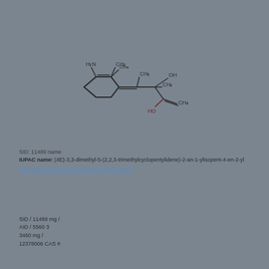[Figure (schematic): Chemical structure diagram of a compound showing a cyclohexene ring with amino and methyl substituents connected via a carbon chain to a quaternary carbon bearing hydroxyl and methyl groups, with a carboxylate ester group]
SID: 11489 name
IUPAC name: (4E)-3,3-dimethyl-5-(2,2,3-trimethylcyclopentylidene)-2-an-1-ylisopent-4-en-2-yl
Substances has member some other relationships
SID / 11489 mg /
AID / 5560 3
3460 mg /
12378006 CAS #